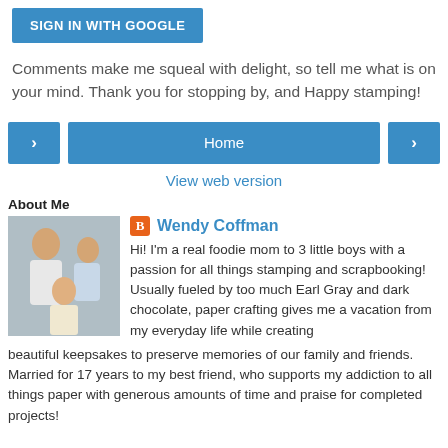[Figure (other): Blue 'SIGN IN WITH GOOGLE' button]
Comments make me squeal with delight, so tell me what is on your mind. Thank you for stopping by, and Happy stamping!
[Figure (other): Navigation row with left arrow button, Home button, and right arrow button]
View web version
About Me
[Figure (photo): Profile photo of Wendy Coffman with children]
Wendy Coffman
Hi! I'm a real foodie mom to 3 little boys with a passion for all things stamping and scrapbooking! Usually fueled by too much Earl Gray and dark chocolate, paper crafting gives me a vacation from my everyday life while creating beautiful keepsakes to preserve memories of our family and friends. Married for 17 years to my best friend, who supports my addiction to all things paper with generous amounts of time and praise for completed projects!